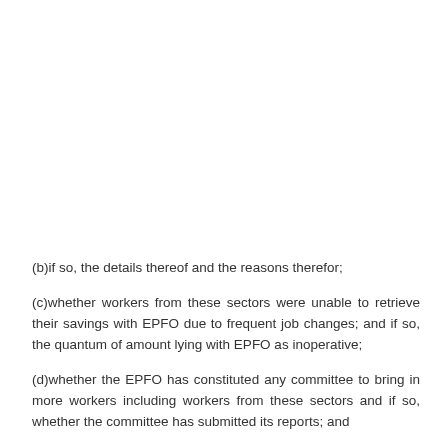(b)if so, the details thereof and the reasons therefor;
(c)whether workers from these sectors were unable to retrieve their savings with EPFO due to frequent job changes; and if so, the quantum of amount lying with EPFO as inoperative;
(d)whether the EPFO has constituted any committee to bring in more workers including workers from these sectors and if so, whether the committee has submitted its reports; and